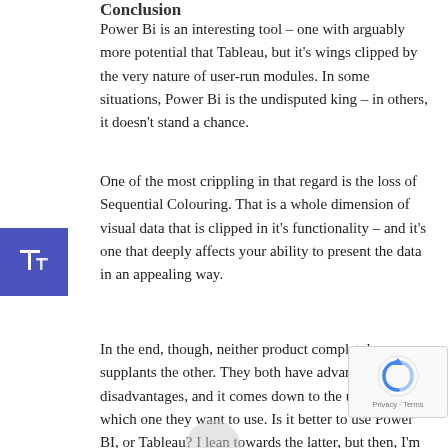Conclusion
Power Bi is an interesting tool – one with arguably more potential that Tableau, but it's wings clipped by the very nature of user-run modules. In some situations, Power Bi is the undisputed king – in others, it doesn't stand a chance.
One of the most crippling in that regard is the loss of Sequential Colouring. That is a whole dimension of visual data that is clipped in it's functionality – and it's one that deeply affects your ability to present the data in an appealing way.
In the end, though, neither product completely supplants the other. They both have advantages and disadvantages, and it comes down to the user to decide which one they want to use. Is it better to use Power BI, or Tableau? I lean towards the latter, but then, I'm trained in that tool. The